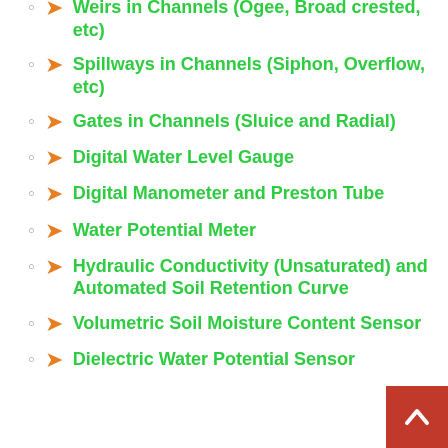Weirs in Channels (Ogee, Broad crested, etc)
Spillways in Channels (Siphon, Overflow, etc)
Gates in Channels (Sluice and Radial)
Digital Water Level Gauge
Digital Manometer and Preston Tube
Water Potential Meter
Hydraulic Conductivity (Unsaturated) and Automated Soil Retention Curve
Volumetric Soil Moisture Content Sensor
Dielectric Water Potential Sensor